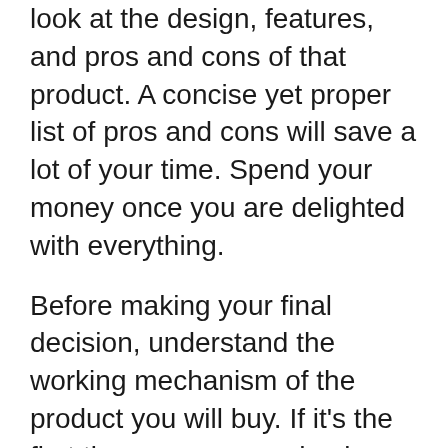look at the design, features, and pros and cons of that product. A concise yet proper list of pros and cons will save a lot of your time. Spend your money once you are delighted with everything.
Before making your final decision, understand the working mechanism of the product you will buy. If it's the first time you are purchasing best fre for iphone 6 6s case, we advise you to manually go through the pros and cons.
Conclusion:
Before placing your order, check whether the brand you are ordering from provides a warranty or not. We will advise you to buy a